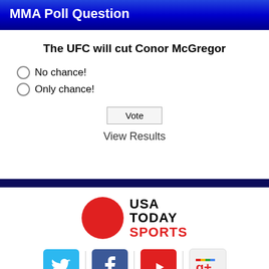MMA Poll Question
The UFC will cut Conor McGregor
No chance!
Only choice!
Vote
View Results
[Figure (logo): USA Today Sports logo with red circle and black/red text]
[Figure (infographic): Social media icons: Twitter, Facebook, YouTube, Google+]